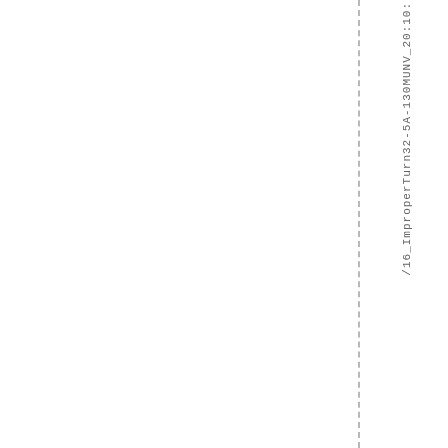/16_ImproperTurn32-5A-130MUNV_20:10: